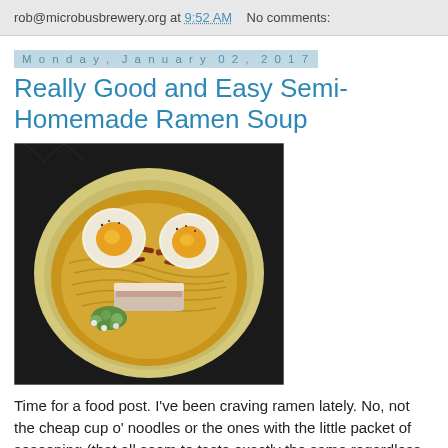rob@microbusbrewery.org at 9:52 AM   No comments:
Monday, January 02, 2017
Really Good and Easy Semi-Homemade Ramen Soup
[Figure (photo): A bowl of homemade ramen soup with soft-boiled eggs, noodles, bacon, green onions, and pork belly in a light broth, photographed from above on a dark surface.]
Time for a food post. I've been craving ramen lately. No, not the cheap cup o' noodles or the ones with the little packet of seasoning (that all seem to taste exactly the same regardless of their flavor). No, I wanted something with a